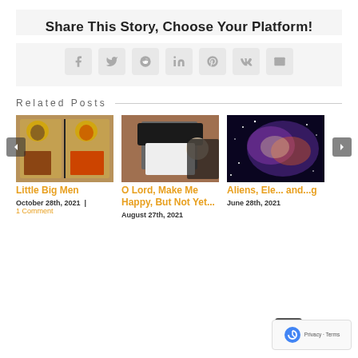Share This Story, Choose Your Platform!
[Figure (infographic): Social sharing icons row: Facebook, Twitter, Reddit, LinkedIn, Pinterest, VK, Email]
Related Posts
[Figure (photo): Medieval icon painting of two saints with gold halos]
Little Big Men
October 28th, 2021 | 1 Comment
[Figure (photo): Nuns in black habits praying]
O Lord, Make Me Happy, But Not Yet...
August 27th, 2021
[Figure (photo): Space nebula with colorful stars and gas clouds]
Aliens, Ele... and...g
June 28th, 2021